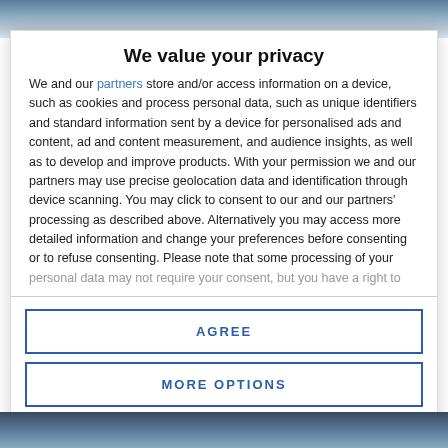[Figure (photo): Background image of a news/media website partially visible at top]
We value your privacy
We and our partners store and/or access information on a device, such as cookies and process personal data, such as unique identifiers and standard information sent by a device for personalised ads and content, ad and content measurement, and audience insights, as well as to develop and improve products. With your permission we and our partners may use precise geolocation data and identification through device scanning. You may click to consent to our and our partners' processing as described above. Alternatively you may access more detailed information and change your preferences before consenting or to refuse consenting. Please note that some processing of your personal data may not require your consent, but you have a right to
AGREE
MORE OPTIONS
[Figure (photo): Background image partially visible at bottom]